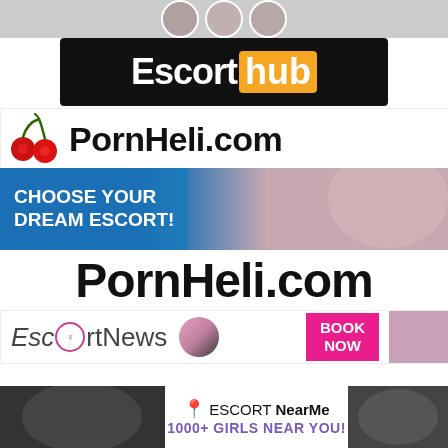[Figure (photo): Top strip with circular thumbnail profile photos]
[Figure (logo): EscortHub logo — black background with white 'Escort' and orange 'hub' badge text]
[Figure (logo): PornHeli.com logo with red cherries graphic and bold black text]
[Figure (photo): Choose Your Dream Escort banner — blue gradient background with white bold uppercase text on left, woman photo on right]
PornHeli.com
[Figure (logo): EscortNews logo with stylized 'O' and pink circle, BOOK NOW button in magenta, pink semicircle, woman photo]
[Figure (logo): topescort banner with orange heart icon, 'topescort' text, yellow SEARCH ESCORTS button with arrow, dark right-side photo]
[Figure (photo): Bottom strip: dark photo on left, ESCORTNearMe logo with purple pin icon and '1000+ GIRLS NEAR YOU!' text, dark photo on right]